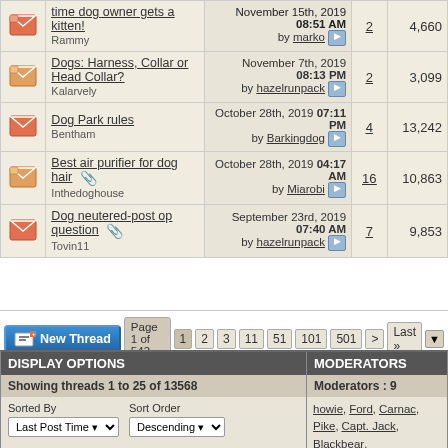|  | Topic | Last Post | Replies | Views |
| --- | --- | --- | --- | --- |
| [icon] | time dog owner gets a kitten!
Rammy | November 15th, 2019 08:51 AM by marko | 2 | 4,660 |
| [icon] | Dogs: Harness, Collar or Head Collar?
Kalarvely | November 7th, 2019 08:13 PM by hazelrunpack | 2 | 3,099 |
| [icon] | Dog Park rules
Bentham | October 28th, 2019 07:11 PM by Barkingdog | 4 | 13,242 |
| [icon] | Best air purifier for dog hair [attachment]
Inthedoghouse | October 28th, 2019 04:17 AM by Miarobi | 16 | 10,863 |
| [icon] | Dog neutered-post op question [attachment]
Tovin11 | September 23rd, 2019 07:40 AM by hazelrunpack | 7 | 9,853 |
Page 1 of 543  1 2 3 11 51 101 501 > Last »
DISPLAY OPTIONS
MODERATORS
Showing threads 1 to 25 of 13568
Moderators : 9
Sorted By: Last Post Time | Sort Order: Descending | From The: Beginning
howie, Ford, Carnac, Pike, Capt. Jack, Blackbear, ...